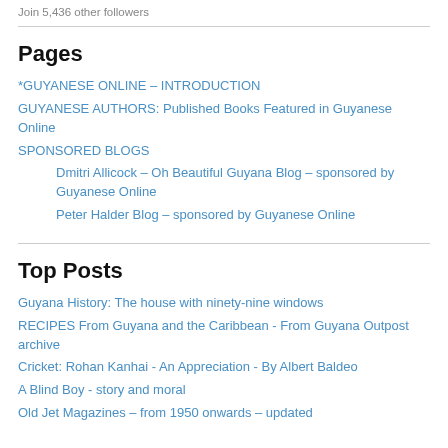Join 5,436 other followers
Pages
*GUYANESE ONLINE – INTRODUCTION
GUYANESE AUTHORS: Published Books Featured in Guyanese Online
SPONSORED BLOGS
Dmitri Allicock – Oh Beautiful Guyana Blog – sponsored by Guyanese Online
Peter Halder Blog – sponsored by Guyanese Online
Top Posts
Guyana History: The house with ninety-nine windows
RECIPES From Guyana and the Caribbean - From Guyana Outpost archive
Cricket: Rohan Kanhai - An Appreciation - By Albert Baldeo
A Blind Boy - story and moral
Old Jet Magazines – from 1950 onwards – updated